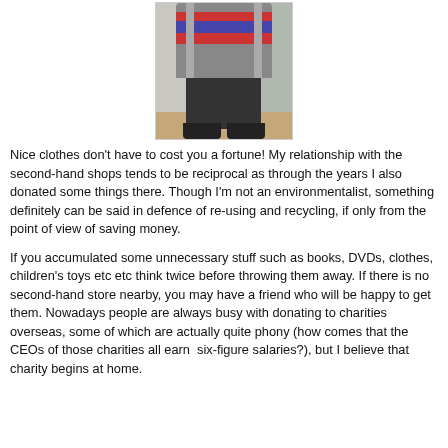[Figure (photo): A person wearing a colorful layered skirt or tutu-style outfit with dark leggings, photographed from below the waist, standing on a wooden floor near a wall or railing.]
Nice clothes don't have to cost you a fortune! My relationship with the second-hand shops tends to be reciprocal as through the years I also donated some things there. Though I'm not an environmentalist, something definitely can be said in defence of re-using and recycling, if only from the point of view of saving money.
If you accumulated some unnecessary stuff such as books, DVDs, clothes, children's toys etc etc think twice before throwing them away. If there is no second-hand store nearby, you may have a friend who will be happy to get them. Nowadays people are always busy with donating to charities overseas, some of which are actually quite phony (how comes that the CEOs of those charities all earn  six-figure salaries?), but I believe that charity begins at home.